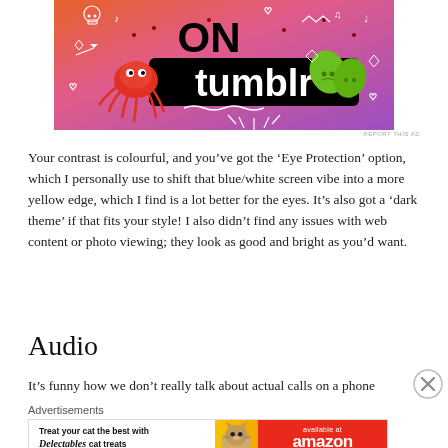[Figure (illustration): Tumblr advertisement banner with colorful orange-to-purple gradient background, white doodles (skull, hearts, music notes, arrows, leaves), a red spider/octopus creature, green leaf emojis, and bold text reading 'ON tumblr' in black and white letters.]
REPORT THIS AD
Your contrast is colourful, and you've got the ‘Eye Protection’ option, which I personally use to shift that blue/white screen vibe into a more yellow edge, which I find is a lot better for the eyes. It’s also got a ‘dark theme’ if that fits your style! I also didn’t find any issues with web content or photo viewing; they look as good and bright as you’d want.
Audio
It’s funny how we don’t really talk about actual calls on a phone
[Figure (illustration): Amazon advertisement for Delectables cat treats, featuring the Delectables brand logo on white background left side, a photo of a cat in the center, and red background on right side with 'available at amazon' text in white.]
REPORT THIS AD